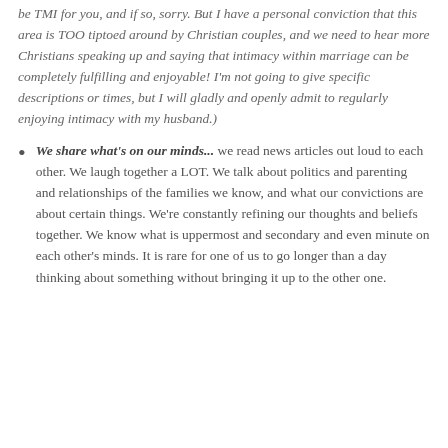be TMI for you, and if so, sorry. But I have a personal conviction that this area is TOO tiptoed around by Christian couples, and we need to hear more Christians speaking up and saying that intimacy within marriage can be completely fulfilling and enjoyable! I'm not going to give specific descriptions or times, but I will gladly and openly admit to regularly enjoying intimacy with my husband.)
We share what's on our minds... we read news articles out loud to each other. We laugh together a LOT. We talk about politics and parenting and relationships of the families we know, and what our convictions are about certain things. We're constantly refining our thoughts and beliefs together. We know what is uppermost and secondary and even minute on each other's minds. It is rare for one of us to go longer than a day thinking about something without bringing it up to the other one.